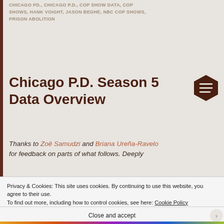CHICAGO PD., CHICAGO P.D., COP SHOW DATA, COP SHOWS, HANK VOIGHT, JASON BEGHE, NBC COP SHOWS, PRISON ABOLITION
Chicago P.D. Season 5 Data Overview
Thanks to Zoë Samudzi and Briana Ureña-Ravelo for feedback on parts of what follows. Deeply
Privacy & Cookies: This site uses cookies. By continuing to use this website, you agree to their use. To find out more, including how to control cookies, see here: Cookie Policy
Close and accept